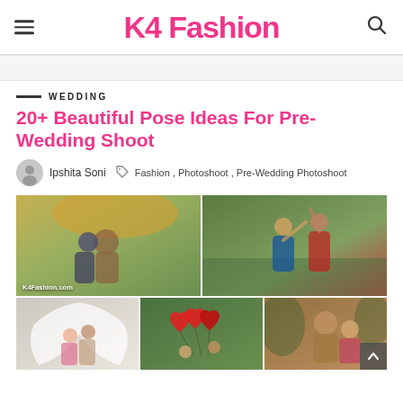K4 Fashion
WEDDING
20+ Beautiful Pose Ideas For Pre-Wedding Shoot
Ipshita Soni   Fashion , Photoshoot , Pre-Wedding Photoshoot
[Figure (photo): Grid of pre-wedding photoshoot images: couple in autumn park, couple dancing in garden, couple with white veil, couple with red heart balloons, couple in ethnic wear]
K4Fashion.com